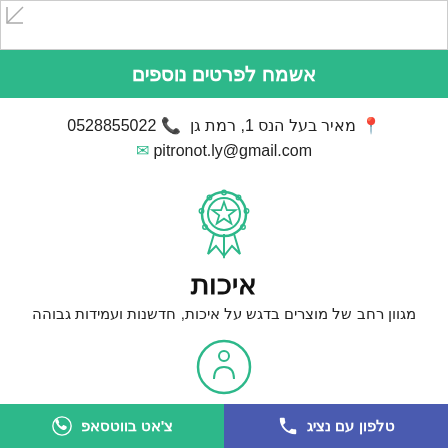[Figure (other): Top image placeholder with corner resize handle]
אשמח לפרטים נוספים
מאיר בעל הנס 1, רמת גן   📞 0528855022
pitronot.ly@gmail.com ✉
[Figure (illustration): Green badge/award icon with star]
איכות
מגוון רחב של מוצרים בדגש על איכות, חדשנות ועמידות גבוהה
[Figure (illustration): Green info circle icon]
טלפון עם נציג | צ'אט בווטסאפ